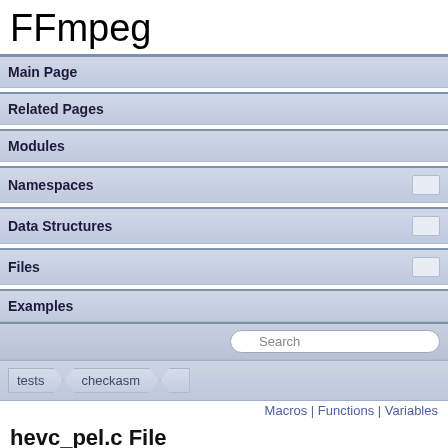FFmpeg
Main Page
Related Pages
Modules
Namespaces
Data Structures
Files
Examples
tests  checkasm
Macros | Functions | Variables
hevc_pel.c File Reference